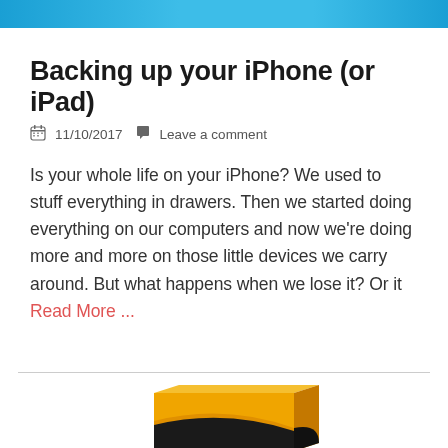[Figure (other): Blue gradient banner at the top of the page]
Backing up your iPhone (or iPad)
📅 11/10/2017  💬 Leave a comment
Is your whole life on your iPhone? We used to stuff everything in drawers. Then we started doing everything on our computers and now we're doing more and more on those little devices we carry around. But what happens when we lose it? Or it Read More ...
[Figure (photo): Product software box with orange and black design, partially visible at the bottom of the page]